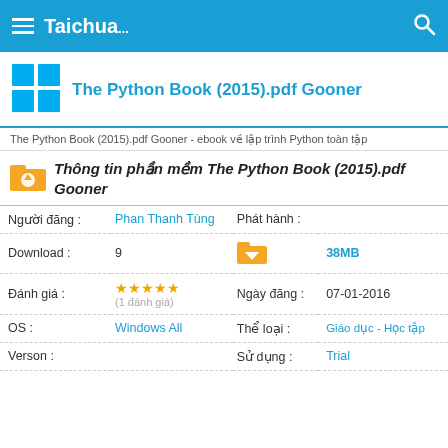Taichua... [search icon]
The Python Book (2015).pdf Gooner
The Python Book (2015).pdf Gooner - ebook về lập trình Python toàn tập
Thông tin phần mềm The Python Book (2015).pdf Gooner
| Field | Value | Field2 | Value2 |
| --- | --- | --- | --- |
| Người đăng : | Phan Thanh Tùng | Phát hành : |  |
| Download : | 9 |  | 38MB |
| Đánh giá : | ★★★★★ (1 đánh giá) | Ngày đăng : | 07-01-2016 |
| OS : | Windows All | Thể loại : | Giáo dục - Học tập |
| Verson : |  | Sử dụng : | Trial |